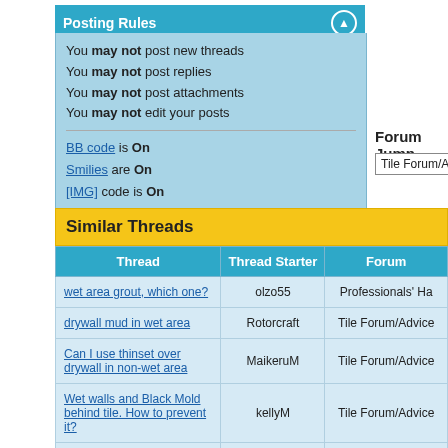Posting Rules
You may not post new threads
You may not post replies
You may not post attachments
You may not edit your posts
BB code is On
Smilies are On
[IMG] code is On
HTML code is Off
Forum Jump
Tile Forum/Adv
Similar Threads
| Thread | Thread Starter | Forum |
| --- | --- | --- |
| wet area grout, which one? | olzo55 | Professionals' Ha |
| drywall mud in wet area | Rotorcraft | Tile Forum/Advice |
| Can I use thinset over drywall in non-wet area | MaikeruM | Tile Forum/Advice |
| Wet walls and Black Mold behind tile. How to prevent it? | kellyM | Tile Forum/Advice |
| Concrete Tiles in Wet-Area | jpasch | Tile Forum/Advice |